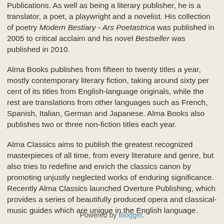Publications. As well as being a literary publisher, he is a translator, a poet, a playwright and a novelist. His collection of poetry Modern Bestiary - Ars Poetastrica was published in 2005 to critical acclaim and his novel Bestseller was published in 2010.
Alma Books publishes from fifteen to twenty titles a year, mostly contemporary literary fiction, taking around sixty per cent of its titles from English-language originals, while the rest are translations from other languages such as French, Spanish, Italian, German and Japanese. Alma Books also publishes two or three non-fiction titles each year.
Alma Classics aims to publish the greatest recognized masterpieces of all time, from every literature and genre, but also tries to redefine and enrich the classics canon by promoting unjustly neglected works of enduring significance. Recently Alma Classics launched Overture Publishing, which provides a series of beautifully produced opera and classical-music guides which are unique in the English language.
View my complete profile
Powered by Blogger.